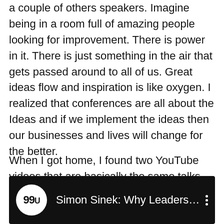a couple of others speakers. Imagine being in a room full of amazing people looking for improvement. There is power in it. There is just something in the air that gets passed around to all of us. Great ideas flow and inspiration is like oxygen. I realized that conferences are all about the Ideas and if we implement the ideas then our businesses and lives will change for the better.
When I got home, I found two YouTube videos that are basically the same talks. YouTube is amazing. I hope you like them.
[Figure (screenshot): YouTube video thumbnail with black background showing 99U channel icon (white circle with '99U' text) and video title 'Simon Sinek: Why Leaders ...' with a vertical three-dot menu icon on the right.]